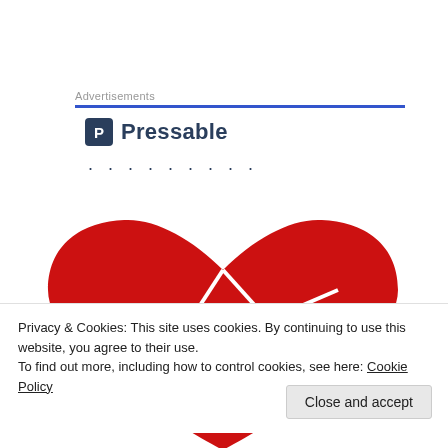Advertisements
[Figure (logo): Pressable logo with dark blue P icon and bold 'Pressable' text]
[Figure (illustration): Large red heart shape with white crack/fracture lines, partially visible, cropped at bottom]
Privacy & Cookies: This site uses cookies. By continuing to use this website, you agree to their use.
To find out more, including how to control cookies, see here: Cookie Policy
Close and accept